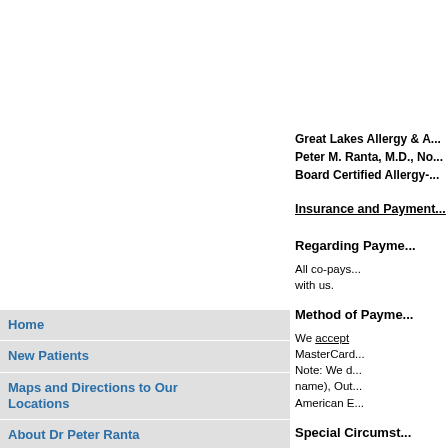Great Lakes Allergy & A...
Peter M. Ranta, M.D., No...
Board Certified Allergy-...
Insurance and Payment...
Regarding Payme...
All co-pays... with us.
Method of Payme...
We accept MasterCard... Note: We d... name), Out... American E...
Home
New Patients
Maps and Directions to Our Locations
About Dr Peter Ranta
Allergy and Asthma Specialty Care
Allergy Shot Information
The Ca Choo Club Allergy Shot Reward Program
The Ca Choo Club History
Insurance and Payment Policies
Special Circumst...
We realize...